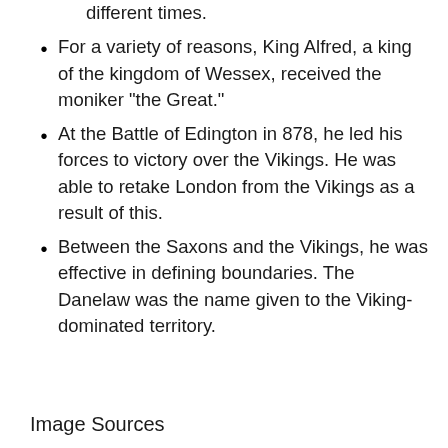since they inhabited Britain at different times.
For a variety of reasons, King Alfred, a king of the kingdom of Wessex, received the moniker "the Great."
At the Battle of Edington in 878, he led his forces to victory over the Vikings. He was able to retake London from the Vikings as a result of this.
Between the Saxons and the Vikings, he was effective in defining boundaries. The Danelaw was the name given to the Viking-dominated territory.
Image Sources